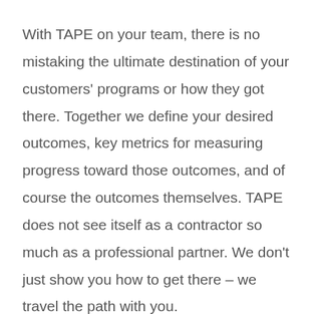With TAPE on your team, there is no mistaking the ultimate destination of your customers' programs or how they got there. Together we define your desired outcomes, key metrics for measuring progress toward those outcomes, and of course the outcomes themselves. TAPE does not see itself as a contractor so much as a professional partner. We don't just show you how to get there – we travel the path with you.
Measuring allows the establishment of baselines, the identification of the effects of